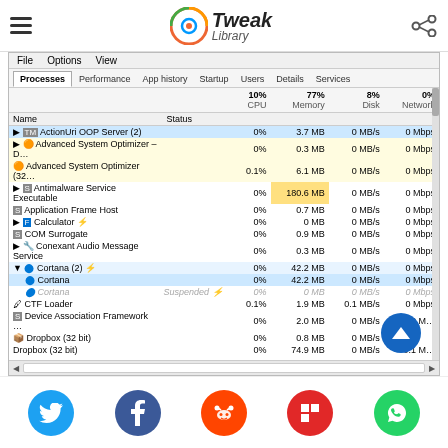Tweak Library
[Figure (screenshot): Windows Task Manager screenshot showing Processes tab with columns: Name, Status, CPU (10%), Memory (77%), Disk (8%), Network (0%). Rows include ActionUri OOP Server (2), Advanced System Optimizer, Antimalware Service Executable, Application Frame Host, Calculator, COM Surrogate, Conexant Audio Message Service, Cortana (2) expanded, CTT Loader, Device Association Framework, Dropbox (32 bit), etc.]
Social share buttons: Twitter, Facebook, Reddit, Flipboard, WhatsApp